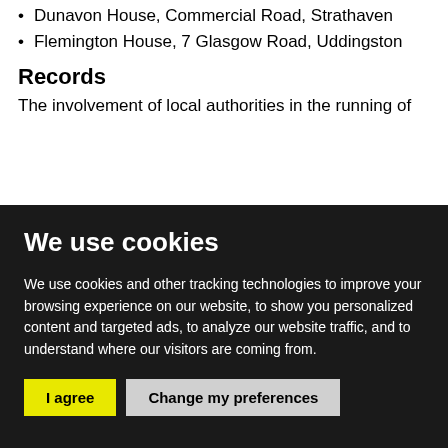Dunavon House, Commercial Road, Strathaven
Flemington House, 7 Glasgow Road, Uddingston
Records
The involvement of local authorities in the running of
We use cookies
We use cookies and other tracking technologies to improve your browsing experience on our website, to show you personalized content and targeted ads, to analyze our website traffic, and to understand where our visitors are coming from.
I agree | Change my preferences